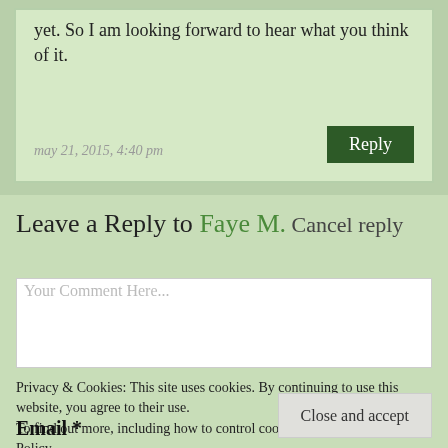yet. So I am looking forward to hear what you think of it.
may 21, 2015, 4:40 pm
Reply
Leave a Reply to Faye M. Cancel reply
Your Comment Here...
Privacy & Cookies: This site uses cookies. By continuing to use this website, you agree to their use.
To find out more, including how to control cookies, see here: Privacy Policy
Close and accept
Email *